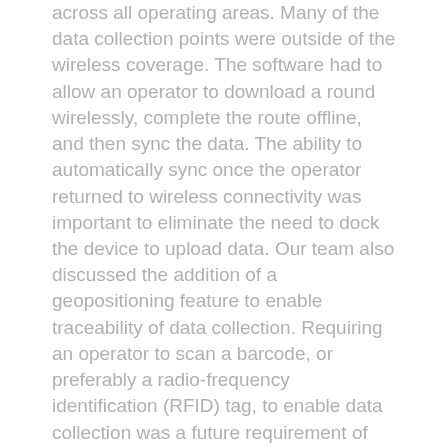across all operating areas. Many of the data collection points were outside of the wireless coverage. The software had to allow an operator to download a round wirelessly, complete the route offline, and then sync the data. The ability to automatically sync once the operator returned to wireless connectivity was important to eliminate the need to dock the device to upload data. Our team also discussed the addition of a geopositioning feature to enable traceability of data collection. Requiring an operator to scan a barcode, or preferably a radio-frequency identification (RFID) tag, to enable data collection was a future requirement of the software and site infrastructure.
Hardware selection
After selecting the software, consider the hardware. Operators need to be equipped with a suitable mobile device platform, such as a mobile phone, small handheld device, tablet, or